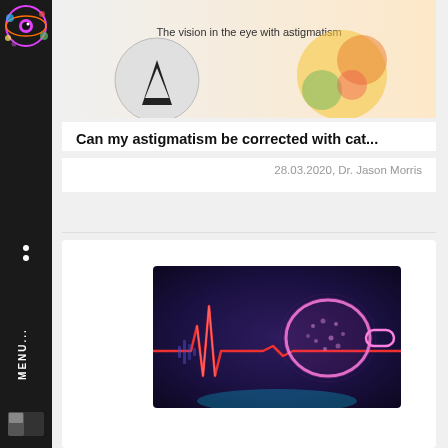[Figure (screenshot): Website sidebar with colorful eye logo on dark background, MENU text rotated vertically, and a layout icon at the bottom]
[Figure (screenshot): Top portion of an article card showing an image labeled 'The vision in the eye with astigmatism' with circular eye diagrams]
Can my astigmatism be corrected with cat...
28.03.2020, Dr. Jason Morris
[Figure (illustration): Medical illustration showing a glowing pink/purple eye cross-section with red heartbeat/EKG line on a dark blue-purple background]